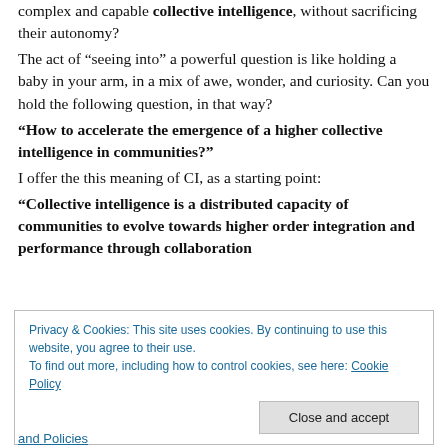complex and capable collective intelligence, without sacrificing their autonomy?
The act of “seeing into” a powerful question is like holding a baby in your arm, in a mix of awe, wonder, and curiosity. Can you hold the following question, in that way?
“How to accelerate the emergence of a higher collective intelligence in communities?”
I offer the this meaning of CI, as a starting point:
“Collective intelligence is a distributed capacity of communities to evolve towards higher order integration and performance through collaboration
Privacy & Cookies: This site uses cookies. By continuing to use this website, you agree to their use.
To find out more, including how to control cookies, see here: Cookie Policy
Close and accept
and Policies